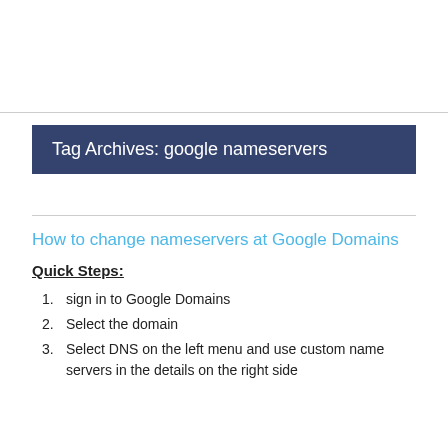Tag Archives: google nameservers
How to change nameservers at Google Domains
Quick Steps:
sign in to Google Domains
Select the domain
Select DNS on the left menu and use custom name servers in the details on the right side